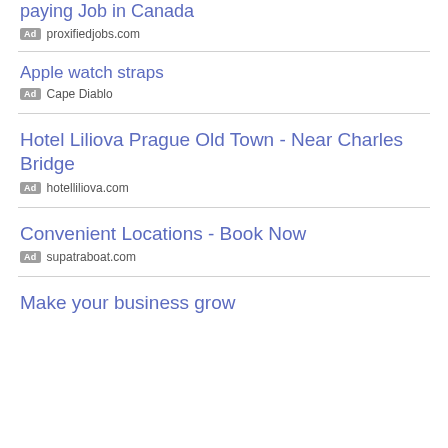paying Job in Canada
Ad proxifiedjobs.com
Apple watch straps
Ad Cape Diablo
Hotel Liliova Prague Old Town - Near Charles Bridge
Ad hotelliliova.com
Convenient Locations - Book Now
Ad supatraboat.com
Make your business grow